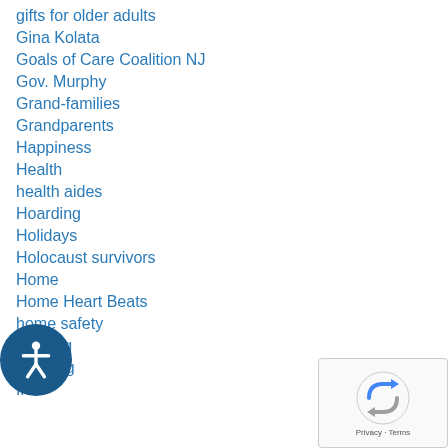gifts for older adults
Gina Kolata
Goals of Care Coalition NJ
Gov. Murphy
Grand-families
Grandparents
Happiness
Health
health aides
Hoarding
Holidays
Holocaust survivors
Home
Home Heart Beats
home safety
housing
Housing
Inc.